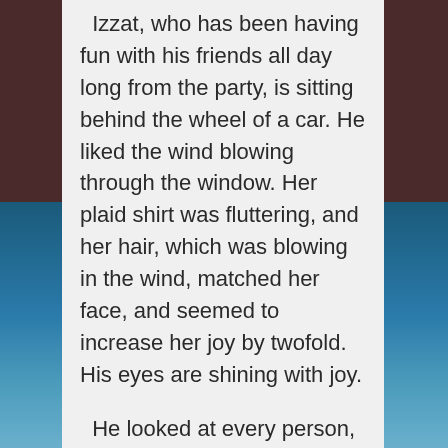Izzat, who has been having fun with his friends all day long from the party, is sitting behind the wheel of a car. He liked the wind blowing through the window. Her plaid shirt was fluttering, and her hair, which was blowing in the wind, matched her face, and seemed to increase her joy by twofold. His eyes are shining with joy.

He looked at every person, trees and even cars with a